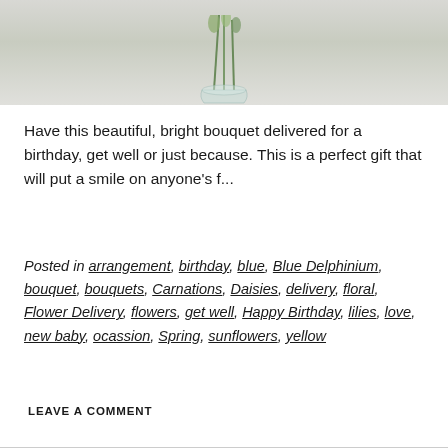[Figure (photo): Cropped photo of a floral arrangement in a clear vase against a light background]
Have this beautiful, bright bouquet delivered for a birthday, get well or just because. This is a perfect gift that will put a smile on anyone's f...
Posted in arrangement, birthday, blue, Blue Delphinium, bouquet, bouquets, Carnations, Daisies, delivery, floral, Flower Delivery, flowers, get well, Happy Birthday, lilies, love, new baby, ocassion, Spring, sunflowers, yellow
LEAVE A COMMENT